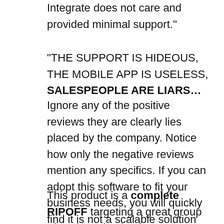Integrate does not care and provided minimal support."
"THE SUPPORT IS HIDEOUS, THE MOBILE APP IS USELESS, SALESPEOPLE ARE LIARS…
Ignore any of the positive reviews they are clearly lies placed by the company. Notice how only the negative reviews mention any specifics. If you can adopt this software to fit your business needs, you will quickly find it is not a scalable solution whatsoever…
This product is a complete RIPOFF targeting a great group of suckers, i.e. businesses without the financial or technical acumen to move beyond the world of QuickBooks. THIS